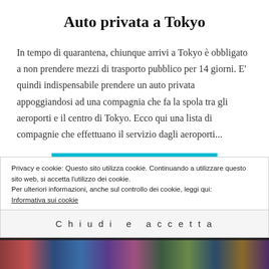Auto privata a Tokyo
In tempo di quarantena, chiunque arrivi a Tokyo è obbligato a non prendere mezzi di trasporto pubblico per 14 giorni. E' quindi indispensabile prendere un auto privata appoggiandosi ad una compagnia che fa la spola tra gli aeroporti e il centro di Tokyo. Ecco qui una lista di compagnie che effettuano il servizio dagli aeroporti...
CONTINUA A LEGGERE
Privacy e cookie: Questo sito utilizza cookie. Continuando a utilizzare questo sito web, si accetta l'utilizzo dei cookie.
Per ulteriori informazioni, anche sul controllo dei cookie, leggi qui:
Informativa sui cookie
Chiudi e accetta